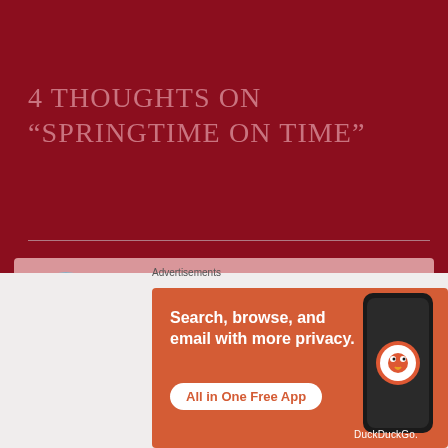4 THOUGHTS ON “SPRINGTIME ON TIME”
ARLINGWOMAN says: APRIL 5, 2020 AT 5:36 AM
The seasons are different everywhere. As I have blogged and met more people from different climates,
[Figure (infographic): DuckDuckGo advertisement: orange background with phone graphic showing DuckDuckGo logo. Text reads 'Search, browse, and email with more privacy. All in One Free App'. DuckDuckGo branding shown.]